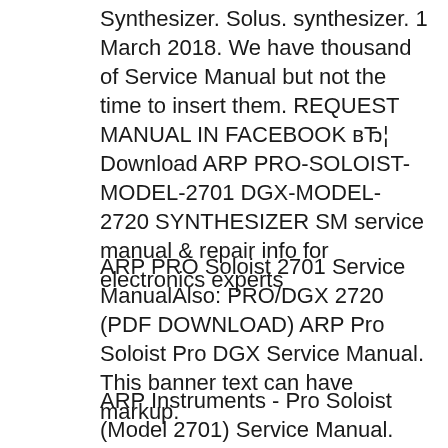Synthesizer. Solus. synthesizer. 1 March 2018. We have thousand of Service Manual but not the time to insert them. REQUEST MANUAL IN FACEBOOK вЂ¦ Download ARP PRO-SOLOIST-MODEL-2701 DGX-MODEL-2720 SYNTHESIZER SM service manual & repair info for electronics experts
ARP PRO Soloist 2701 Service ManualAlso: PRO/DGX 2720 (PDF DOWNLOAD) ARP Pro Soloist Pro DGX Service Manual. This banner text can have markup.
ARP Instruments - Pro Soloist (Model 2701) Service Manual. Home Manuals ARP Instruments Pro Soloist (Model